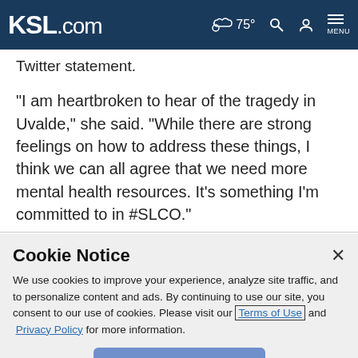KSL.com  75° [weather icon] [search icon] [account icon] MENU
Twitter statement.
"I am heartbroken to hear of the tragedy in Uvalde," she said. "While there are strong feelings on how to address these things, I think we can all agree that we need more mental health resources. It's something I'm committed to in #SLCO."
Cookie Notice
We use cookies to improve your experience, analyze site traffic, and to personalize content and ads. By continuing to use our site, you consent to our use of cookies. Please visit our Terms of Use and Privacy Policy for more information.
Continue